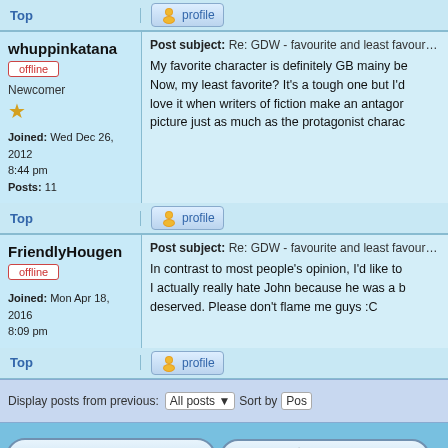Top | profile
whuppinkatana
Post subject: Re: GDW - favourite and least favourte chara
offline
Newcomer
Joined: Wed Dec 26, 2012 8:44 pm
Posts: 11
My favorite character is definitely GB mainy be... Now, my least favorite? It's a tough one but I'd... love it when writers of fiction make an antagon... picture just as much as the protagonist charac...
Top | profile
FriendlyHougen
Post subject: Re: GDW - favourite and least favourte chara
offline
Joined: Mon Apr 18, 2016 8:09 pm
In contrast to most people's opinion, I'd like to... I actually really hate John because he was a b... deserved. Please don't flame me guys :C
Top | profile
Display posts from previous: All posts v  Sort by  Pos
+ NEW TOPIC
=> REPLY
Page 1 of